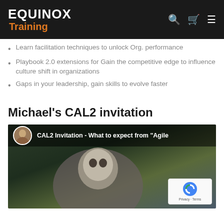EQUINOX Training
Learn facilitation techniques to unlock Org. performance
Playbook 2.0 extensions for Gain the competitive edge to influence culture shift in organizations
Gaps in your leadership, gain skills to evolve faster
Michael's CAL2 invitation
[Figure (screenshot): Video thumbnail showing CAL2 Invitation - What to expect from 'Agile' with a man's face and reCAPTCHA badge]